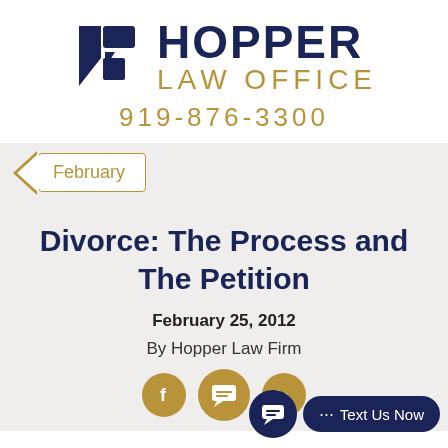[Figure (logo): Hopper Law Office logo with dark navy shield/book icon and text]
919-876-3300
February
Divorce: The Process and The Petition
February 25, 2012
By Hopper Law Firm
[Figure (other): Social media share icons (Facebook, chat/text, LinkedIn) in gold circles, and a Text Us Now button overlay]